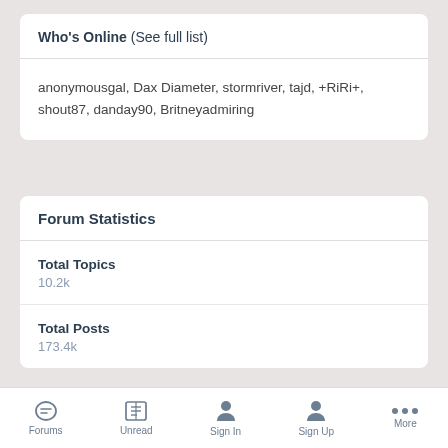Who's Online (See full list)
anonymousgal, Dax Diameter, stormriver, tajd, +RiRi+, shout87, danday90, Britneyadmiring
Forum Statistics
Total Topics
10.2k
Total Posts
173.4k
Forums  Unread  Sign In  Sign Up  More